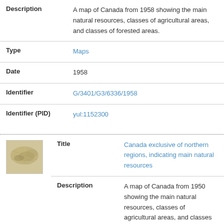| Field | Value |
| --- | --- |
| Description | A map of Canada from 1958 showing the main natural resources, classes of agricultural areas, and classes of forested areas. |
| Type | Maps |
| Date | 1958 |
| Identifier | G/3401/G3/6336/1958 |
| Identifier (PID) | yul:1152300 |
[Figure (map): Thumbnail of a historical map of Canada showing natural resources]
| Field | Value |
| --- | --- |
| Title | Canada exclusive of northern regions, indicating main natural resources |
| Description | A map of Canada from 1950 showing the main natural resources, classes of agricultural areas, and classes of forested areas. |